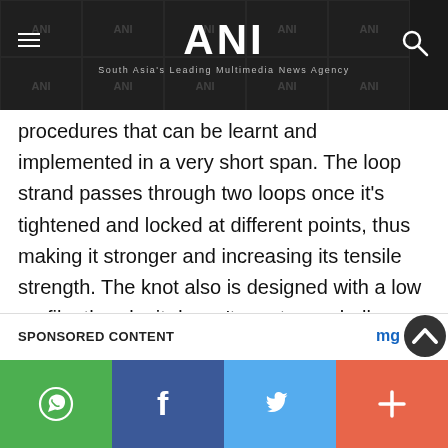ANI — South Asia's Leading Multimedia News Agency
procedures that can be learnt and implemented in a very short span. The loop strand passes through two loops once it's tightened and locked at different points, thus making it stronger and increasing its tensile strength. The knot also is designed with a low profile, thereby it doesn't create any bulky knot, which leads to impingement."
SPONSORED CONTENT
WhatsApp | Facebook | Twitter | More